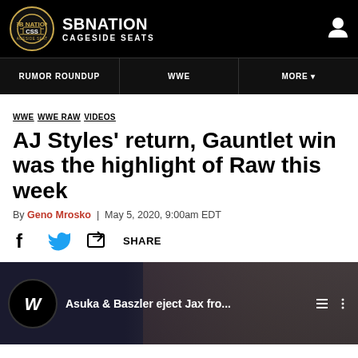SB NATION — CAGESIDE SEATS
RUMOR ROUNDUP  |  WWE  |  MORE
WWE  WWE RAW  VIDEOS
AJ Styles' return, Gauntlet win was the highlight of Raw this week
By Geno Mrosko | May 5, 2020, 9:00am EDT
SHARE
[Figure (screenshot): Video thumbnail: Asuka & Baszler eject Jax fro... — WWE video player with logo and controls]